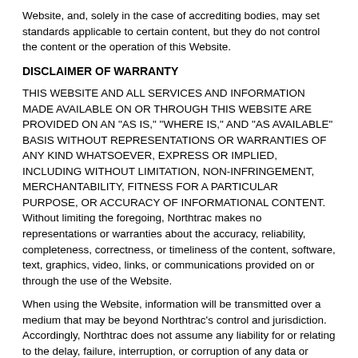Website, and, solely in the case of accrediting bodies, may set standards applicable to certain content, but they do not control the content or the operation of this Website.
DISCLAIMER OF WARRANTY
THIS WEBSITE AND ALL SERVICES AND INFORMATION MADE AVAILABLE ON OR THROUGH THIS WEBSITE ARE PROVIDED ON AN "AS IS," "WHERE IS," AND "AS AVAILABLE" BASIS WITHOUT REPRESENTATIONS OR WARRANTIES OF ANY KIND WHATSOEVER, EXPRESS OR IMPLIED, INCLUDING WITHOUT LIMITATION, NON-INFRINGEMENT, MERCHANTABILITY, FITNESS FOR A PARTICULAR PURPOSE, OR ACCURACY OF INFORMATIONAL CONTENT. Without limiting the foregoing, Northtrac makes no representations or warranties about the accuracy, reliability, completeness, correctness, or timeliness of the content, software, text, graphics, video, links, or communications provided on or through the use of the Website.
When using the Website, information will be transmitted over a medium that may be beyond Northtrac's control and jurisdiction. Accordingly, Northtrac does not assume any liability for or relating to the delay, failure, interruption, or corruption of any data or other information transmitted in connection with use of the Website.